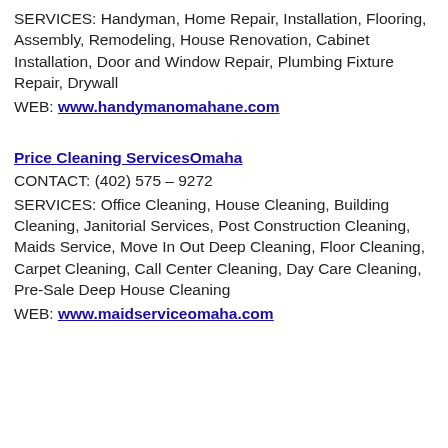SERVICES: Handyman, Home Repair, Installation, Flooring, Assembly, Remodeling, House Renovation, Cabinet Installation, Door and Window Repair, Plumbing Fixture Repair, Drywall
WEB: www.handymanomahane.com
Price Cleaning ServicesOmaha
CONTACT: (402) 575 – 9272
SERVICES: Office Cleaning, House Cleaning, Building Cleaning, Janitorial Services, Post Construction Cleaning, Maids Service, Move In Out Deep Cleaning, Floor Cleaning, Carpet Cleaning, Call Center Cleaning, Day Care Cleaning, Pre-Sale Deep House Cleaning
WEB: www.maidserviceomaha.com